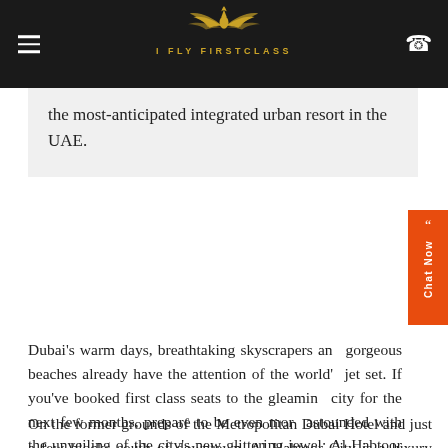I FLY FIRSTCLASS
the most-anticipated integrated urban resort in the UAE.
Dubai's warm days, breathtaking skyscrapers and gorgeous beaches already have the attention of the world's jet set. If you've booked first class seats to the gleaming city for the next few months, prepare to be even more astounded with the unveiling of the city's new glittering jewel: Al Habtoor City.
On the former grounds of the Metropolitan Dubai Hotel and just a few blocks south of downtown, Al Habtoor City is a luxury destination designed to appeal to the world's most sophisticated travelers. Three five-star hotels, three posh